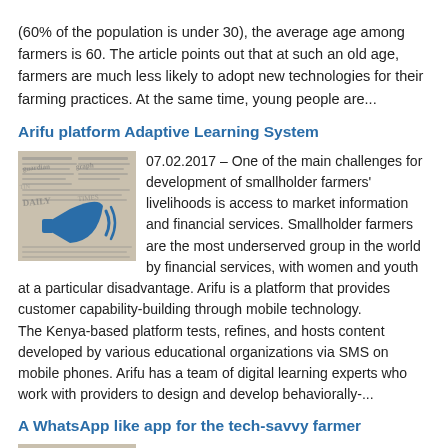(60% of the population is under 30), the average age among farmers is 60. The article points out that at such an old age, farmers are much less likely to adopt new technologies for their farming practices. At the same time, young people are...
Arifu platform Adaptive Learning System
[Figure (illustration): Newspaper background with a blue megaphone/loudspeaker icon overlay]
07.02.2017 – One of the main challenges for development of smallholder farmers' livelihoods is access to market information and financial services. Smallholder farmers are the most underserved group in the world by financial services, with women and youth at a particular disadvantage. Arifu is a platform that provides customer capability-building through mobile technology. The Kenya-based platform tests, refines, and hosts content developed by various educational organizations via SMS on mobile phones. Arifu has a team of digital learning experts who work with providers to design and develop behaviorally-...
A WhatsApp like app for the tech-savvy farmer
[Figure (illustration): Newspaper background with a blue megaphone/loudspeaker icon overlay]
04.02.2017 – KrishiSuchak is a WhatsApp-like app developed by Bangalore-based startup Nubesol Technologies to permit smallholders to message agricultural scientist to ask them for advice on their yields, thus eliminating spatial barriers